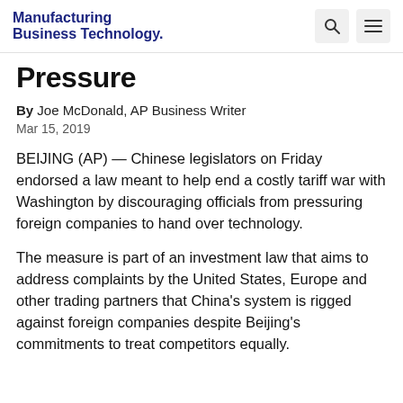Manufacturing Business Technology
Pressure
By Joe McDonald, AP Business Writer
Mar 15, 2019
BEIJING (AP) — Chinese legislators on Friday endorsed a law meant to help end a costly tariff war with Washington by discouraging officials from pressuring foreign companies to hand over technology.
The measure is part of an investment law that aims to address complaints by the United States, Europe and other trading partners that China's system is rigged against foreign companies despite Beijing's commitments to treat competitors equally.